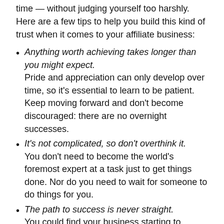time — without judging yourself too harshly. Here are a few tips to help you build this kind of trust when it comes to your affiliate business:
Anything worth achieving takes longer than you might expect. Pride and appreciation can only develop over time, so it's essential to learn to be patient. Keep moving forward and don't become discouraged: there are no overnight successes.
It's not complicated, so don't overthink it. You don't need to become the world's foremost expert at a task just to get things done. Nor do you need to wait for someone to do things for you.
The path to success is never straight. You could find your business starting to branch out in several different directions, with many different customer segments. That's actually a great thing, if you're starting to make a profit. But it means that you'll